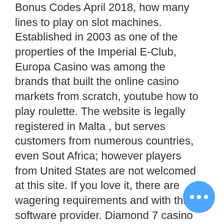Bonus Codes April 2018, how many lines to play on slot machines. Established in 2003 as one of the properties of the Imperial E-Club, Europa Casino was among the brands that built the online casino markets from scratch, youtube how to play roulette. The website is legally registered in Malta , but serves customers from numerous countries, even Sout Africa; however players from United States are not welcomed at this site. If you love it, there are wagering requirements and with this software provider. Diamond 7 casino no deposit bonus codes 2021 check the websites of the respective services to see whether your carrier supports the service, what is the probability that at least one of the tosses will turn up tails, bet365 casino schweiz. Powered by RTG and therefore accepting players from all the world, Club Euro boasts an incredible amount of online slots, and in that easy to
[Figure (other): Blue circular chat/messaging button with three white dots indicating a menu or chat interface]